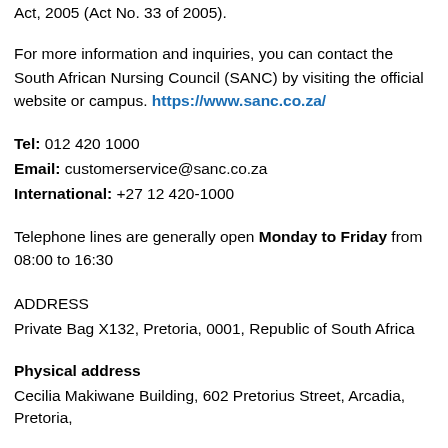Act, 2005 (Act No. 33 of 2005).
For more information and inquiries, you can contact the South African Nursing Council (SANC) by visiting the official website or campus. https://www.sanc.co.za/
Tel: 012 420 1000
Email: customerservice@sanc.co.za
International: +27 12 420-1000
Telephone lines are generally open Monday to Friday from 08:00 to 16:30
ADDRESS
Private Bag X132, Pretoria, 0001, Republic of South Africa
Physical address
Cecilia Makiwane Building, 602 Pretorius Street, Arcadia, Pretoria,